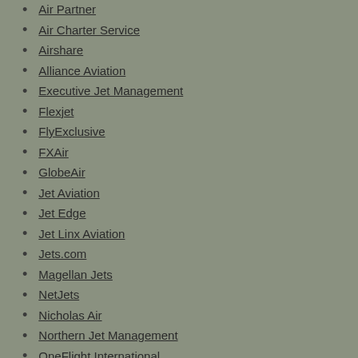Air Partner
Air Charter Service
Airshare
Alliance Aviation
Executive Jet Management
Flexjet
FlyExclusive
FXAir
GlobeAir
Jet Aviation
Jet Edge
Jet Linx Aviation
Jets.com
Magellan Jets
NetJets
Nicholas Air
Northern Jet Management
OneFlight International
PrivateFly